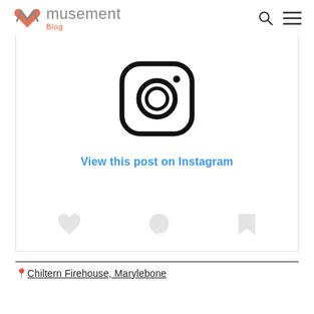musement Blog
[Figure (screenshot): Instagram embed placeholder showing Instagram camera logo icon and a 'View this post on Instagram' link in blue, with social action icons (heart, comment, bookmark) below]
📍Chiltern Firehouse, Marylebone